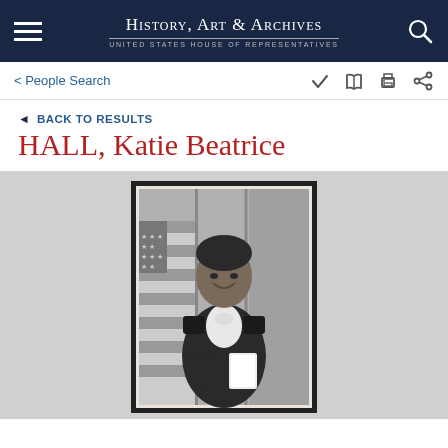History, Art & Archives — United States House of Representatives
< People Search
◄ BACK TO RESULTS
HALL, Katie Beatrice
[Figure (photo): Black and white official portrait photograph of Katie Beatrice Hall standing in front of an American flag, wearing a dark blazer with a white polka-dot blouse/bow, holding white papers, smiling.]